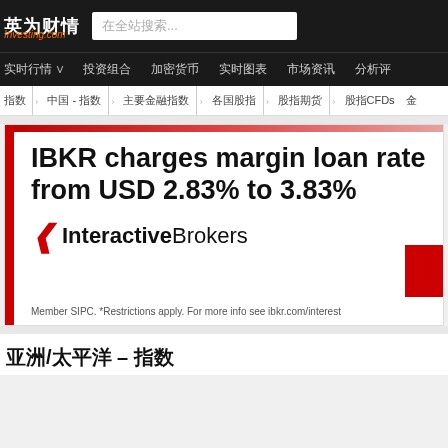英为财情 Investing.com
实时行情 投资组合 加密货币 实时图表 市场资讯 分析评
指数 中国-指数 主要金融指数 各国股指 股指期货 股指CFDs 金
[Figure (screenshot): Interactive Brokers advertisement banner. Text reads: 'IBKR charges margin loan rates from USD 2.83% to 3.83%'. Shows Interactive Brokers logo. Footer: 'Member SIPC. *Restrictions apply. For more info see ibkr.com/interest']
亚洲/太平洋 – 指数